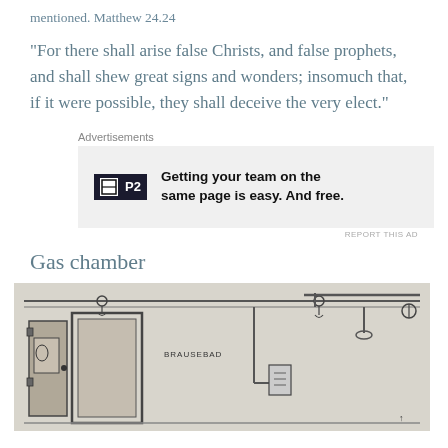mentioned. Matthew 24.24
“For there shall arise false Christs, and false prophets, and shall shew great signs and wonders; insomuch that, if it were possible, they shall deceive the very elect.”
[Figure (other): Advertisement banner for P2: 'Getting your team on the same page is easy. And free.']
Gas chamber
[Figure (engineering-diagram): Technical schematic drawing of a gas chamber, showing a cross-section with doors, pipes, and labeled components including 'BRAUSEBAD'. The drawing appears to be a historical architectural/engineering document.]